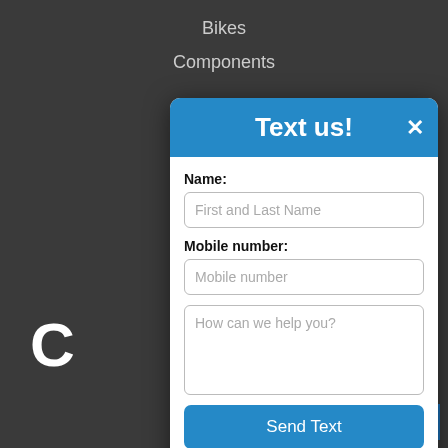Bikes
Components
[Figure (screenshot): Dark website background with navigation menu items Bikes, Components, Group Rides and a large letter C visible]
Text us!
Name:
First and Last Name
Mobile number:
Mobile number
How can we help you?
Send Text
Powered by  Ikeono
Group Rides